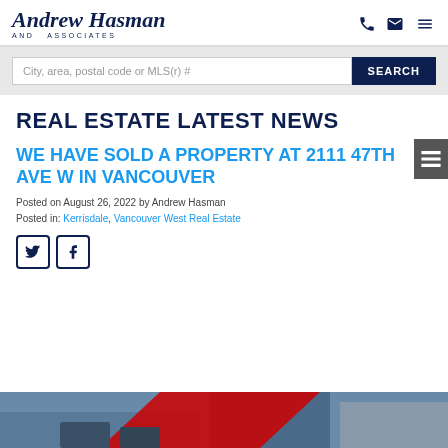Andrew Hasman AND ASSOCIATES
City, area, postal code or MLS(r) # SEARCH
REAL ESTATE LATEST NEWS
WE HAVE SOLD A PROPERTY AT 2111 47TH AVE W IN VANCOUVER
Posted on August 26, 2022 by Andrew Hasman
Posted in: Kerrisdale, Vancouver West Real Estate
[Figure (photo): Partial view of a property photo showing rooftop and red diagonal element]